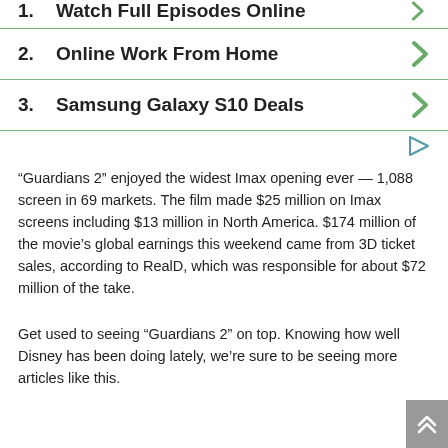1. Watch Full Episodes Online
2. Online Work From Home
3. Samsung Galaxy S10 Deals
“Guardians 2” enjoyed the widest Imax opening ever — 1,088 screen in 69 markets. The film made $25 million on Imax screens including $13 million in North America. $174 million of the movie’s global earnings this weekend came from 3D ticket sales, according to RealD, which was responsible for about $72 million of the take.
Get used to seeing “Guardians 2” on top. Knowing how well Disney has been doing lately, we’re sure to be seeing more articles like this.